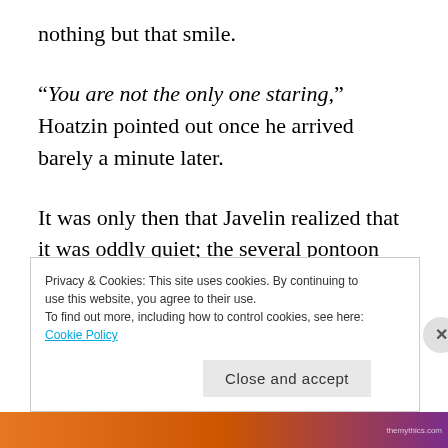nothing but that smile.
“You are not the only one staring,” Hoatzin pointed out once he arrived barely a minute later.
It was only then that Javelin realized that it was oddly quiet; the several pontoon ports across the beach were always bustling with activity, especially during the early morning as it was now. Javelin tore his gaze away from Raven, only to find that the dozen or so workers at the port were, indeed, also
Privacy & Cookies: This site uses cookies. By continuing to use this website, you agree to their use.
To find out more, including how to control cookies, see here: Cookie Policy
Close and accept